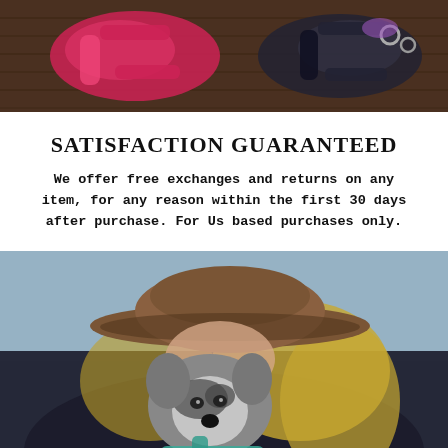[Figure (photo): Top-down flat lay photo of pet harnesses on a dark wooden surface. Pink/red harness on the left, black harness with metal hardware on the right.]
SATISFACTION GUARANTEED
We offer free exchanges and returns on any item, for any reason within the first 30 days after purchase. For Us based purchases only.
[Figure (photo): A woman wearing a wide-brim brown hat and dark jacket leaning close to a small husky or Alaskan Klee Kai dog wearing a teal harness. Outdoor setting with blurred background.]